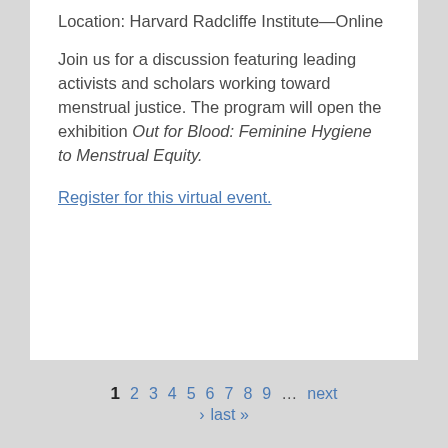Location: Harvard Radcliffe Institute—Online
Join us for a discussion featuring leading activists and scholars working toward menstrual justice. The program will open the exhibition Out for Blood: Feminine Hygiene to Menstrual Equity.
Register for this virtual event.
1 2 3 4 5 6 7 8 9 ... next › last »